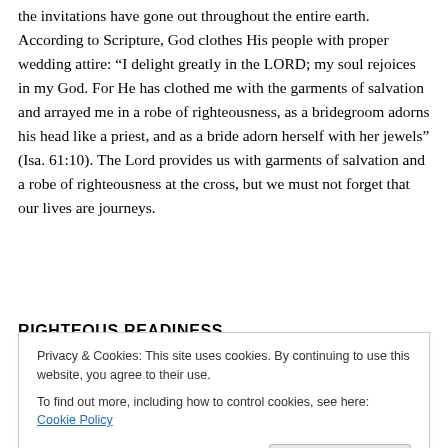the invitations have gone out throughout the entire earth. According to Scripture, God clothes His people with proper wedding attire: “I delight greatly in the LORD; my soul rejoices in my God. For He has clothed me with the garments of salvation and arrayed me in a robe of righteousness, as a bridegroom adorns his head like a priest, and as a bride adorn herself with her jewels” (Isa. 61:10). The Lord provides us with garments of salvation and a robe of righteousness at the cross, but we must not forget that our lives are journeys.
RIGHTEOUS READINESS
Privacy & Cookies: This site uses cookies. By continuing to use this website, you agree to their use.
To find out more, including how to control cookies, see here: Cookie Policy
Close and accept